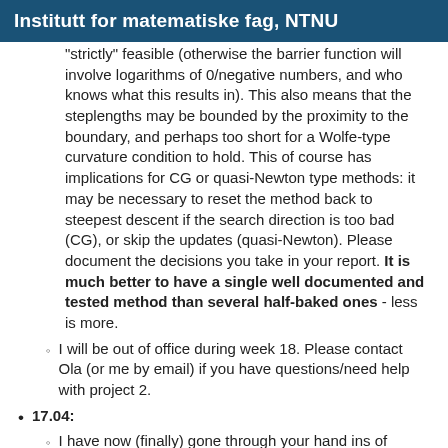Institutt for matematiske fag, NTNU
"strictly" feasible (otherwise the barrier function will involve logarithms of 0/negative numbers, and who knows what this results in). This also means that the steplengths may be bounded by the proximity to the boundary, and perhaps too short for a Wolfe-type curvature condition to hold. This of course has implications for CG or quasi-Newton type methods: it may be necessary to reset the method back to steepest descent if the search direction is too bad (CG), or skip the updates (quasi-Newton). Please document the decisions you take in your report. It is much better to have a single well documented and tested method than several half-baked ones - less is more.
I will be out of office during week 18. Please contact Ola (or me by email) if you have questions/need help with project 2.
17.04:
I have now (finally) gone through your hand ins of project 1. The quality of the answers to questions 1 is very diverse. The rest of the questions have